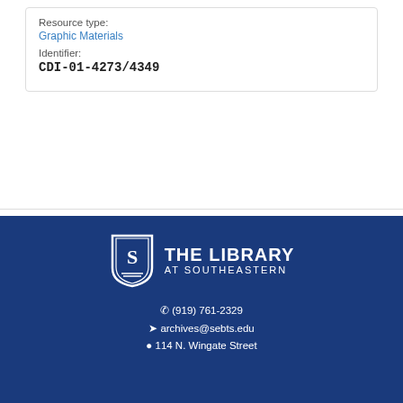Resource type:
Graphic Materials
Identifier:
CDI-01-4273/4349
« Previous  Next »  1  2  3  4
[Figure (logo): The Library at Southeastern logo with shield icon]
(919) 761-2329
archives@sebts.edu
114 N. Wingate Street